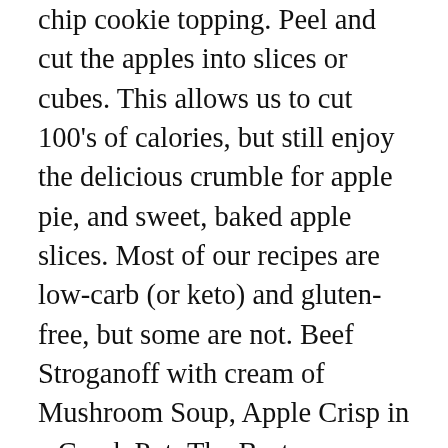chip cookie topping. Peel and cut the apples into slices or cubes. This allows us to cut 100's of calories, but still enjoy the delicious crumble for apple pie, and sweet, baked apple slices. Most of our recipes are low-carb (or keto) and gluten-free, but some are not. Beef Stroganoff with cream of Mushroom Soup, Apple Crisp in a Crock Pot: The Best homemade Recipe, Meatloaf Recipe with Oatmeal (An Easy Mouth-watering Dish), Alton Brown Brined Turkey Recipe: Eat Healthily,..., Chicken Parmesan in a slow Cooker– A recipe with Great taste, Best Beef Stroganoff Recipe (Homemade): A Great Secret, Sweet Dumpling Squash | Ingredients and Directions, Kabab Masala Recipe | Cook like a Chef | Ingredients